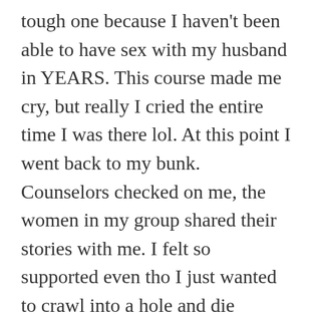tough one because I haven't been able to have sex with my husband in YEARS. This course made me cry, but really I cried the entire time I was there lol. At this point I went back to my bunk. Counselors checked on me, the women in my group shared their stories with me. I felt so supported even tho I just wanted to crawl into a hole and die
The counselors are amazing. Tuesday night I was feeling super triggered and couldn't stop thinking about the sexual abuse by my grandfather and a rape (one of many) that resulted in me giving